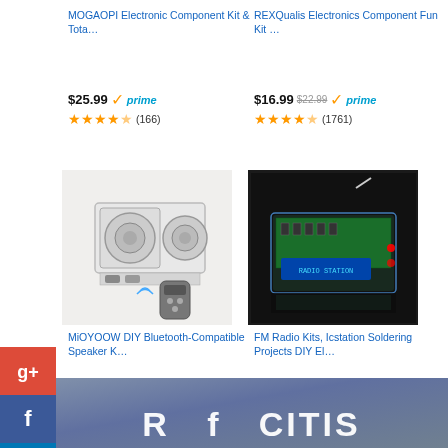MOGAOPI Electronic Component Kit & Tota...
$25.99 prime (166)
REXQualis Electronics Component Fun Kit ...
$16.99 $22.99 prime (1761)
[Figure (photo): MiOYOOW DIY Bluetooth-Compatible Speaker Kit with remote control]
MiOYOOW DIY Bluetooth-Compatible Speaker K...
$28.08 prime (188)
[Figure (photo): FM Radio kit in clear acrylic case with antenna]
FM Radio Kits, Icstation Soldering Projects DIY El...
$29.99 prime (13)
Ads by Amazon
[Figure (photo): Bottom banner with partial text, blue/grey background]